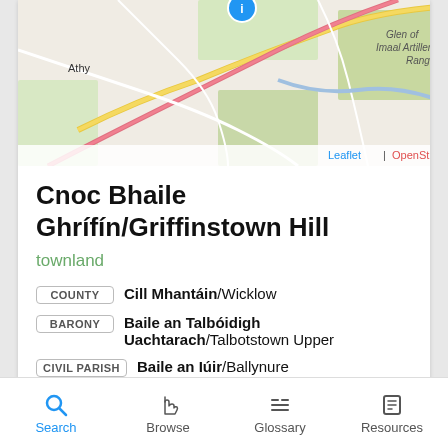[Figure (map): Street/topographic map showing area around Athy and Glen of Imaal Artillery Range, with Leaflet | OpenStreetMap attribution]
Cnoc Bhaile Ghrífín/Griffinstown Hill
townland
COUNTY  Cill Mhantáin/Wicklow
BARONY  Baile an Talbóidigh Uachtarach/Talbotstown Upper
CIVIL PARISH  Baile an Iúir/Ballynure
[Figure (screenshot): More button (blue rounded rectangle)]
[Figure (map): Partial map peek showing Ballymore area]
Search  Browse  Glossary  Resources